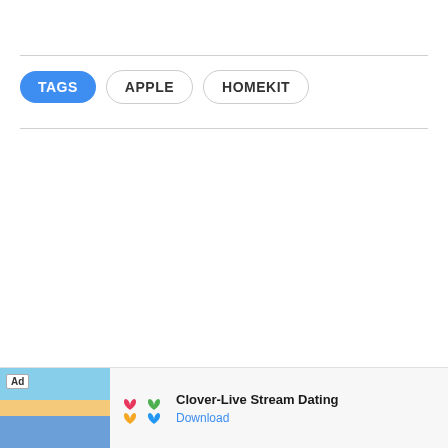TAGS   APPLE   HOMEKIT
[Figure (infographic): Advertisement banner at bottom of page showing Clover-Live Stream Dating app ad with beach photo, app logo (four-leaf clover in red/green/yellow/blue), app name 'Clover-Live Stream Dating', and a 'Download' link.]